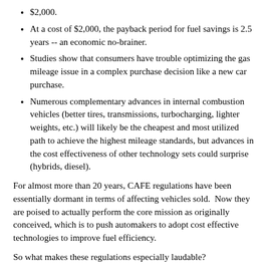$2,000.
At a cost of $2,000, the payback period for fuel savings is 2.5 years -- an economic no-brainer.
Studies show that consumers have trouble optimizing the gas mileage issue in a complex purchase decision like a new car purchase.
Numerous complementary advances in internal combustion vehicles (better tires, transmissions, turbocharging, lighter weights, etc.) will likely be the cheapest and most utilized path to achieve the highest mileage standards, but advances in the cost effectiveness of other technology sets could surprise (hybrids, diesel).
For almost more than 20 years, CAFE regulations have been essentially dormant in terms of affecting vehicles sold.  Now they are poised to actually perform the core mission as originally conceived, which is to push automakers to adopt cost effective technologies to improve fuel efficiency.
So what makes these regulations especially laudable?
Here are my list:
The regulations are directed at, and consistent with, a legitimate national interest: reduced petroleum usage.